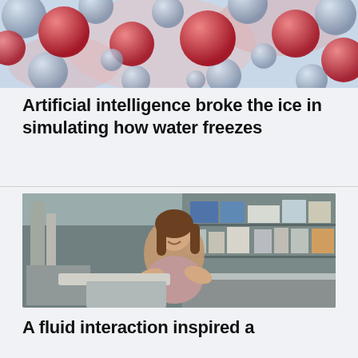[Figure (photo): Close-up illustration or photo of water/ice molecules — red and blue-grey spheres arranged in a molecular structure pattern on a light blue-pink background]
Artificial intelligence broke the ice in simulating how water freezes
[Figure (photo): A smiling woman with long brown hair, arms crossed, standing in a scientific laboratory with shelves of equipment and supplies behind her]
A fluid interaction inspired a